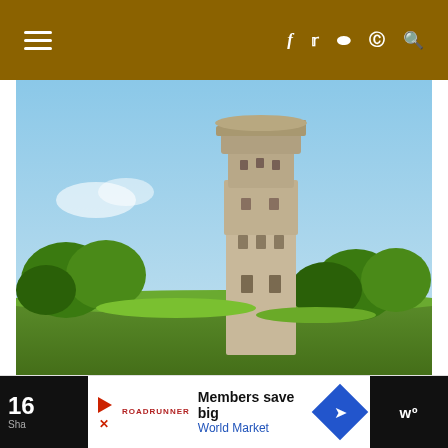Navigation header with hamburger menu and social icons (f, twitter, instagram, pinterest, search)
[Figure (photo): Photograph of a tall old stone water tower with a turret top, surrounded by green trees and grass under a blue sky. Watermark text visible at bottom right.]
Pagination dots: three dots indicating a slideshow/carousel
[Figure (screenshot): Advertisement bar at bottom: left dark section showing '16 Sha', center showing 'Members save big / World Market' with Roadrunner logo, right arrow/diamond logo in blue, far right dark section with 'w°' logo]